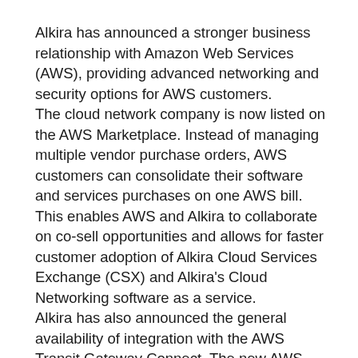Alkira has announced a stronger business relationship with Amazon Web Services (AWS), providing advanced networking and security options for AWS customers.
The cloud network company is now listed on the AWS Marketplace. Instead of managing multiple vendor purchase orders, AWS customers can consolidate their software and services purchases on one AWS bill. This enables AWS and Alkira to collaborate on co-sell opportunities and allows for faster customer adoption of Alkira Cloud Services Exchange (CSX) and Alkira's Cloud Networking software as a service.
Alkira has also announced the general availability of integration with the AWS Transit Gateway Connect. The new AWS Transit Gateway attachment type enables customers to connect third-party SD-WAN